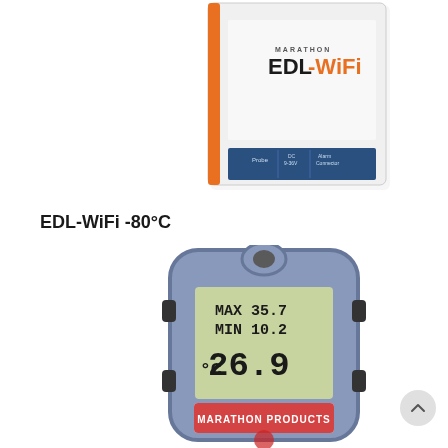[Figure (photo): Marathon EDL-WiFi data logger device - top view showing white rectangular unit with orange accent strip, Marathon EDL-WiFi branding, and connector ports labeled Probe, DC 9-36V, and Alarm Connector]
EDL-WiFi -80°C
[Figure (photo): Marathon Products temperature data logger with blue rubber casing showing LCD display with MAX 35.7, MIN 10.2, and current reading of 26.9°C. Red Marathon Products logo/label at bottom.]